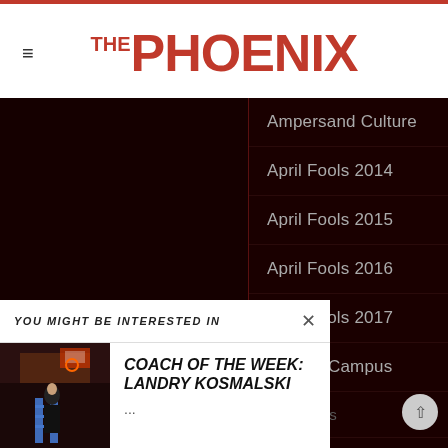THE PHOENIX
Ampersand Culture
April Fools 2014
April Fools 2015
April Fools 2016
April Fools 2017
Around Campus
Around Campus
Higher Education
Spotlight
Arts
YOU MIGHT BE INTERESTED IN
COACH OF THE WEEK: LANDRY KOSMALSKI
...